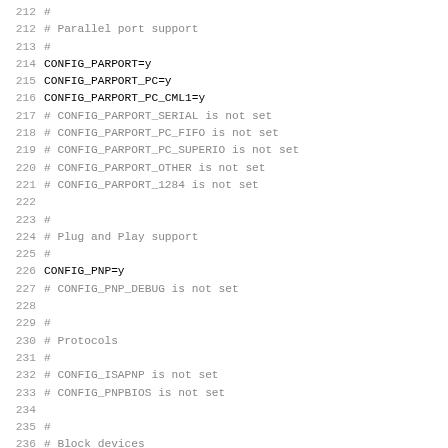Linux kernel configuration file excerpt, lines 212-243, showing parallel port, plug and play, protocols, and block device configuration options.